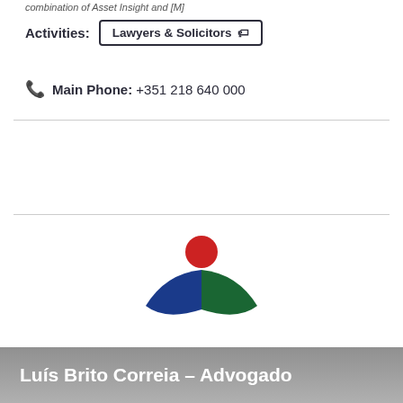combination of Asset Insight and [M]
Activities: Lawyers & Solicitors
Main Phone: +351 218 640 000
[Figure (logo): British-Portuguese Chamber of Commerce logo with blue and green wing shapes and red circle, with text 'British-Portuguese Chamber of Commerce' and 'Câmara de Comércio Luso-Britânica']
Luís Brito Correia – Advogado